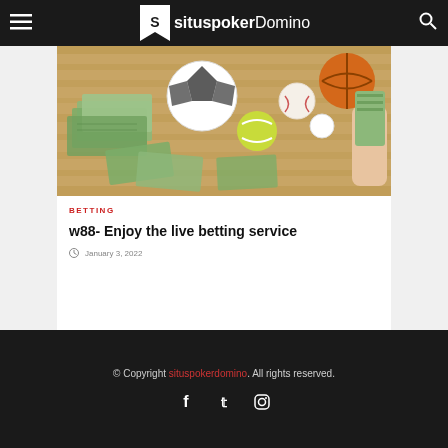situspokerDomino
[Figure (photo): Sports betting themed photo showing sports balls (soccer ball, basketball, tennis ball, baseball, golf ball) and US dollar bills scattered on a wooden floor, with a hand holding cash visible on the right side.]
BETTING
w88- Enjoy the live betting service
January 3, 2022
© Copyright situspokerdomino. All rights reserved.